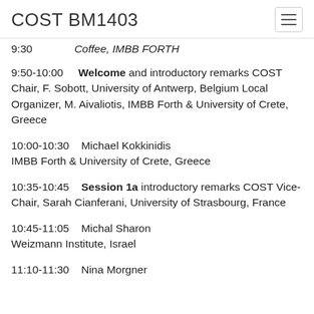COST BM1403
9:30    Coffee, IMBB FORTH
9:50-10:00    Welcome and introductory remarks COST Chair, F. Sobott, University of Antwerp, Belgium Local Organizer, M. Aivaliotis, IMBB Forth & University of Crete, Greece
10:00-10:30    Michael Kokkinidis IMBB Forth & University of Crete, Greece
10:35-10:45    Session 1a introductory remarks COST Vice-Chair, Sarah Cianferani, University of Strasbourg, France
10:45-11:05    Michal Sharon Weizmann Institute, Israel
11:10-11:30    Nina Morgner